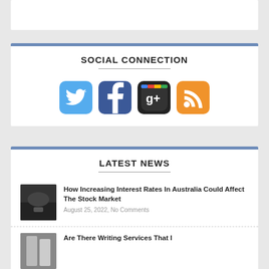SOCIAL CONNECTION
[Figure (infographic): Social media icons: Twitter (blue bird), Facebook (blue f), Google+ (colorful g+), RSS (orange feed icon)]
LATEST NEWS
[Figure (photo): Thumbnail image related to Australia interest rates stock market article]
How Increasing Interest Rates In Australia Could Affect The Stock Market
August 25, 2022, No Comments
[Figure (photo): Thumbnail image related to writing services article]
Are There Writing Services That I